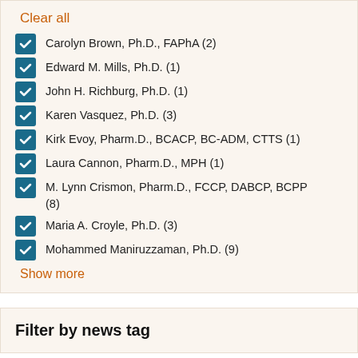Clear all
Carolyn Brown, Ph.D., FAPhA (2)
Edward M. Mills, Ph.D. (1)
John H. Richburg, Ph.D. (1)
Karen Vasquez, Ph.D. (3)
Kirk Evoy, Pharm.D., BCACP, BC-ADM, CTTS (1)
Laura Cannon, Pharm.D., MPH (1)
M. Lynn Crismon, Pharm.D., FCCP, DABCP, BCPP (8)
Maria A. Croyle, Ph.D. (3)
Mohammed Maniruzzaman, Ph.D. (9)
Show more
Filter by news tag